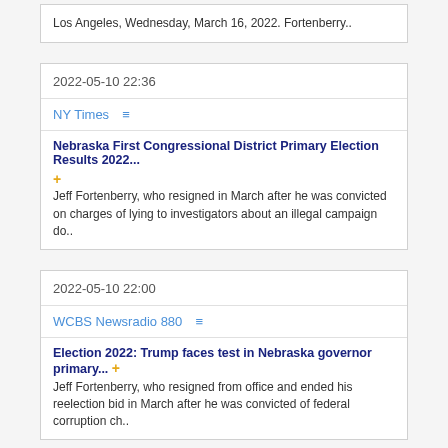Los Angeles, Wednesday, March 16, 2022. Fortenberry..
2022-05-10 22:36
NY Times
Nebraska First Congressional District Primary Election Results 2022... Jeff Fortenberry, who resigned in March after he was convicted on charges of lying to investigators about an illegal campaign do..
2022-05-10 22:00
WCBS Newsradio 880
Election 2022: Trump faces test in Nebraska governor primary... Jeff Fortenberry, who resigned from office and ended his reelection bid in March after he was convicted of federal corruption ch..
2022-05-10 21:13